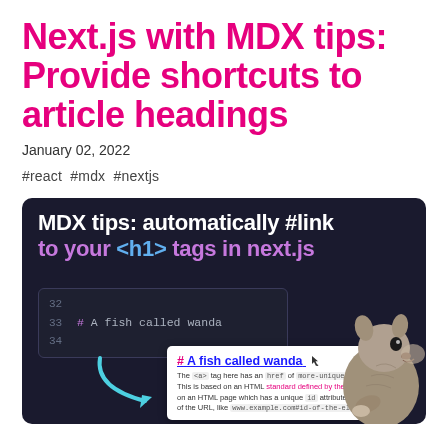Next.js with MDX tips: Provide shortcuts to article headings
January 02, 2022
#react #mdx #nextjs
[Figure (screenshot): Dark-themed promotional image for an MDX tips article. Shows the text 'MDX tips: automatically #link to your <h1> tags in next.js' in white and purple. Contains a code editor snippet showing lines 32-34 with '# A fish called wanda', an arrow pointing to a browser preview showing '#A fish called wanda' as a heading with explanatory text below, and a squirrel photo on the right side.]